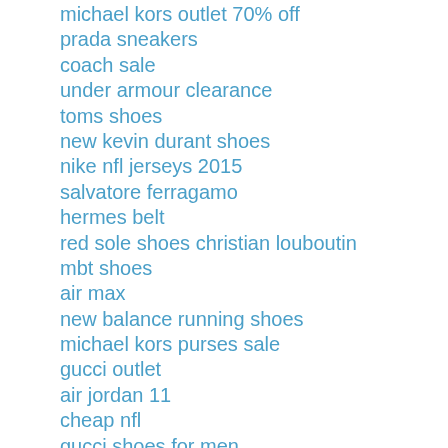michael kors outlet 70% off
prada sneakers
coach sale
under armour clearance
toms shoes
new kevin durant shoes
nike nfl jerseys 2015
salvatore ferragamo
hermes belt
red sole shoes christian louboutin
mbt shoes
air max
new balance running shoes
michael kors purses sale
gucci outlet
air jordan 11
cheap nfl
gucci shoes for men
nike air jordan shoes
north face backpack
ferragamo belts
clarks boots
1014wjl